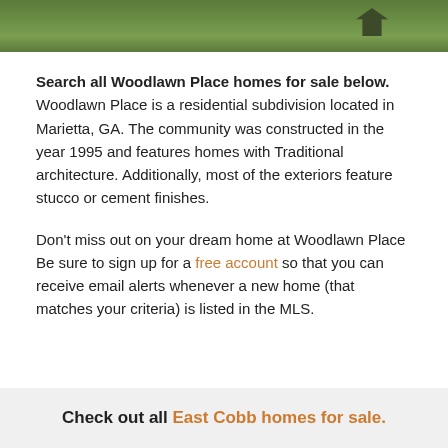[Figure (photo): Aerial or ground-level photo of grassy/vegetated area with a dark birdhouse or structure visible on the right side]
Search all Woodlawn Place homes for sale below. Woodlawn Place is a residential subdivision located in Marietta, GA. The community was constructed in the year 1995 and features homes with Traditional architecture. Additionally, most of the exteriors feature stucco or cement finishes.
Don't miss out on your dream home at Woodlawn Place Be sure to sign up for a free account so that you can receive email alerts whenever a new home (that matches your criteria) is listed in the MLS.
Check out all East Cobb homes for sale.